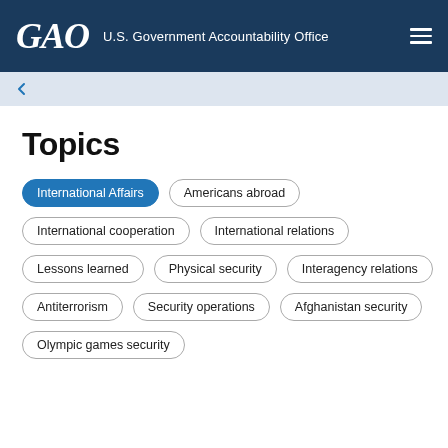GAO U.S. Government Accountability Office
Topics
International Affairs
Americans abroad
International cooperation
International relations
Lessons learned
Physical security
Interagency relations
Antiterrorism
Security operations
Afghanistan security
Olympic games security